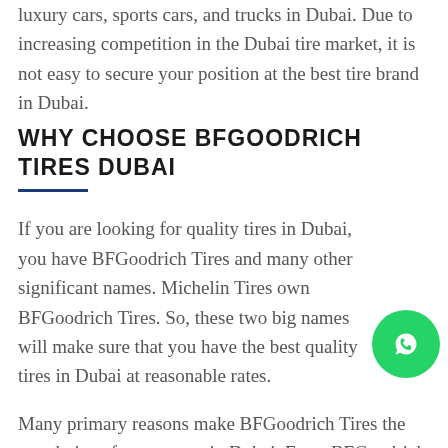luxury cars, sports cars, and trucks in Dubai. Due to increasing competition in the Dubai tire market, it is not easy to secure your position at the best tire brand in Dubai.
WHY CHOOSE BFGOODRICH TIRES DUBAI
If you are looking for quality tires in Dubai, you have BFGoodrich Tires and many other significant names. Michelin Tires own BFGoodrich Tires. So, these two big names will make sure that you have the best quality tires in Dubai at reasonable rates.
Many primary reasons make BFGoodrich Tires the top choice of car owners in Dubai. From BFGoodrich Tires prices in Dubai to the
[Figure (other): Green circular WhatsApp chat button icon]